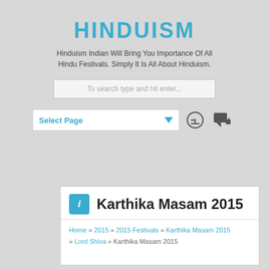HINDUISM
Hinduism Indian Will Bring You Importance Of All Hindu Festivals. Simply It Is All About Hinduism.
To search type and hit enter...
Select Page
Karthika Masam 2015
Home » 2015 » 2015 Festivals » Karthika Masam 2015 » Lord Shiva » Karthika Masam 2015